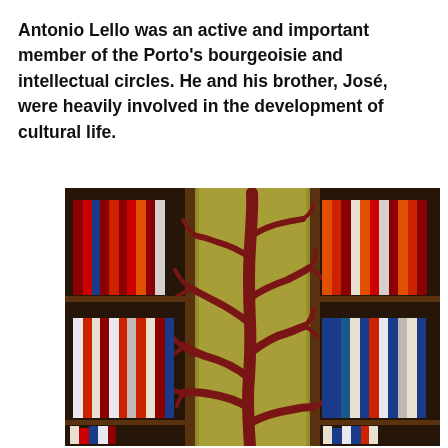Antonio Lello was an active and important member of the Porto's bourgeoisie and intellectual circles. He and his brother, José, were heavily involved in the development of cultural life.
[Figure (photo): Interior photograph of Lello bookstore in Porto, showing ornate wooden bookshelves filled with books on either side, and a central carved wooden column or pillar decorated with an intricate red tree/vine relief pattern on a golden/olive background. The shelves contain various books in red, blue, orange, and white spines.]